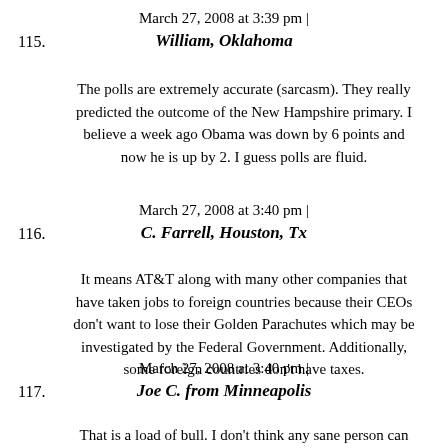115. March 27, 2008 at 3:39 pm | William, Oklahoma
The polls are extremely accurate (sarcasm). They really predicted the outcome of the New Hampshire primary. I believe a week ago Obama was down by 6 points and now he is up by 2. I guess polls are fluid.
116. March 27, 2008 at 3:40 pm | C. Farrell, Houston, Tx
It means AT&T along with many other companies that have taken jobs to foreign countries because their CEOs don't want to lose their Golden Parachutes which may be investigated by the Federal Government. Additionally, some foreign countries don't have taxes.
117. March 27, 2008 at 3:40 pm | Joe C. from Minneapolis
That is a load of bull. I don't think any sane person can believe that when we hear everyday about people being laid off from much more technical and skilled position than customer service. AT&T must think, "Well, if completely illegitimate complaints and lies have worked for the last two